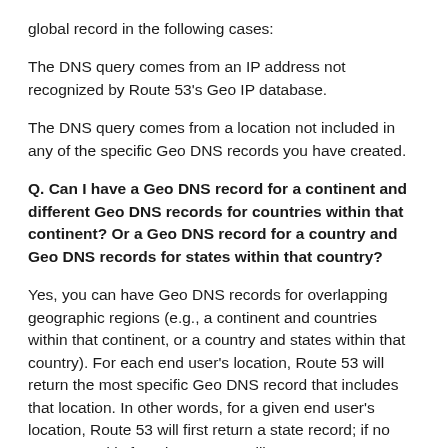global record in the following cases:
The DNS query comes from an IP address not recognized by Route 53's Geo IP database.
The DNS query comes from a location not included in any of the specific Geo DNS records you have created.
Q. Can I have a Geo DNS record for a continent and different Geo DNS records for countries within that continent? Or a Geo DNS record for a country and Geo DNS records for states within that country?
Yes, you can have Geo DNS records for overlapping geographic regions (e.g., a continent and countries within that continent, or a country and states within that country). For each end user's location, Route 53 will return the most specific Geo DNS record that includes that location. In other words, for a given end user's location, Route 53 will first return a state record; if no state record is found, Route 53 will return a country record; if no country record is found, Route 53 will return a continent record; and finally, if no continent record